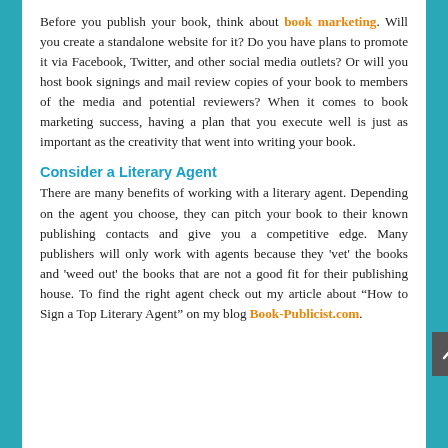Before you publish your book, think about book marketing. Will you create a standalone website for it? Do you have plans to promote it via Facebook, Twitter, and other social media outlets? Or will you host book signings and mail review copies of your book to members of the media and potential reviewers? When it comes to book marketing success, having a plan that you execute well is just as important as the creativity that went into writing your book.
Consider a Literary Agent
There are many benefits of working with a literary agent. Depending on the agent you choose, they can pitch your book to their known publishing contacts and give you a competitive edge. Many publishers will only work with agents because they 'vet' the books and 'weed out' the books that are not a good fit for their publishing house. To find the right agent check out my article about "How to Sign a Top Literary Agent" on my blog Book-Publicist.com.